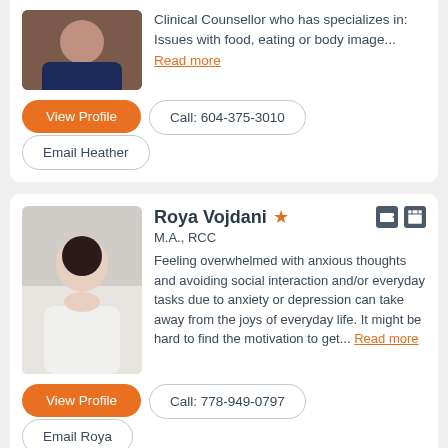Clinical Counsellor who has specializes in: Issues with food, eating or body image... Read more
View Profile
Call: 604-375-3010
Email Heather
Roya Vojdani
M.A., RCC
Feeling overwhelmed with anxious thoughts and avoiding social interaction and/or everyday tasks due to anxiety or depression can take away from the joys of everyday life. It might be hard to find the motivation to get... Read more
View Profile
Call: 778-949-0797
Email Roya